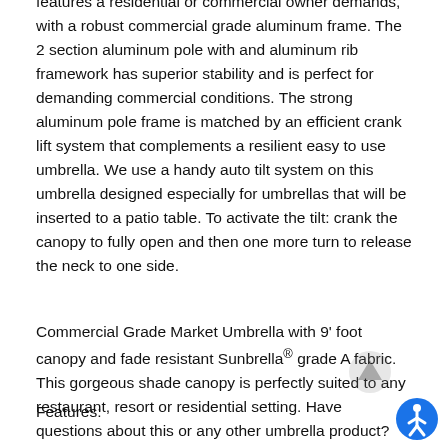features a residential or commercial owner demands, with a robust commercial grade aluminum frame. The 2 section aluminum pole with and aluminum rib framework has superior stability and is perfect for demanding commercial conditions. The strong aluminum pole frame is matched by an efficient crank lift system that complements a resilient easy to use umbrella. We use a handy auto tilt system on this umbrella designed especially for umbrellas that will be inserted to a patio table. To activate the tilt: crank the canopy to fully open and then one more turn to release the neck to one side.
Commercial Grade Market Umbrella with 9’ foot canopy and fade resistant Sunbrella® grade A fabric. This gorgeous shade canopy is perfectly suited to any restaurant, resort or residential setting. Have questions about this or any other umbrella product? Call our patio umbrella buyer Mark Taylor direct: 480-600-1049.
Features: